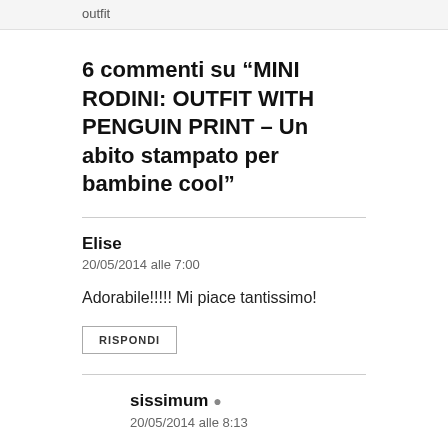outfit
6 commenti su “MINI RODINI: OUTFIT WITH PENGUIN PRINT – Un abito stampato per bambine cool”
Elise
20/05/2014 alle 7:00
Adorabile!!!!! Mi piace tantissimo!
RISPONDI
sissimum
20/05/2014 alle 8:13